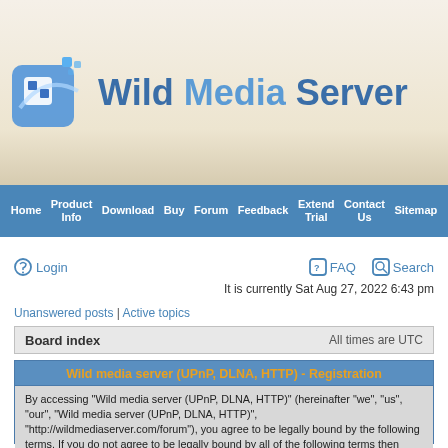[Figure (logo): Wild Media Server logo with blue icon and bold text]
Home | Product Info | Download | Buy | Forum | Feedback | Extend Trial | Contact Us | Sitemap
Login
FAQ  Search
It is currently Sat Aug 27, 2022 6:43 pm
Unanswered posts | Active topics
Board index    All times are UTC
Wild media server (UPnP, DLNA, HTTP) - Registration
By accessing "Wild media server (UPnP, DLNA, HTTP)" (hereinafter "we", "us", "our", "Wild media server (UPnP, DLNA, HTTP)", "http://wildmediaserver.com/forum"), you agree to be legally bound by the following terms. If you do not agree to be legally bound by all of the following terms then please do not access and/or use "Wild media server (UPnP, DLNA, HTTP)". We may change these at any time and we'll do our utmost in informing you, though it would be prudent to review this regularly yourself as your continued usage of "Wild media server (UPnP, DLNA, HTTP)" after changes mean you agree to be legally bound by these terms as they are updated and/or amended.